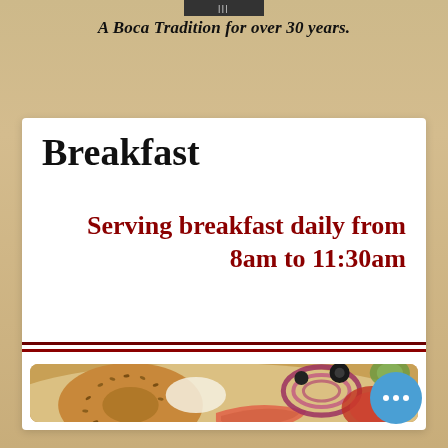[Figure (logo): Restaurant logo at top center, dark rectangular bar]
A Boca Tradition for over 30 years.
Breakfast
Serving breakfast daily from 8am to 11:30am
[Figure (photo): Photo of a bagel with lox, cream cheese, red onion, tomato, and olives on a plate]